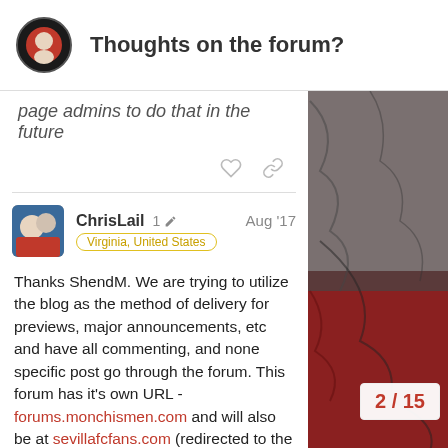Thoughts on the forum?
page admins to do that in the future
ChrisLail  1 ✎  Aug '17
Virginia, United States
Thanks ShendM. We are trying to utilize the blog as the method of delivery for previews, major announcements, etc and have all commenting, and none specific post go through the forum. This forum has it's own URL - forums.monchismen.com and will also be at sevillafcfans.com (redirected to the forums.monchismen.com). You do not have to go to monchismen.com at all if you do not wish to.

As for the style and layout. T... reference will be a good idea
2 / 15